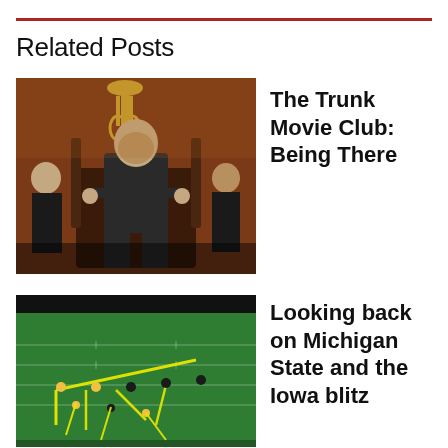Related Posts
[Figure (photo): A bald man in a dark suit sitting on an ornate throne-like chair, flanked by two other figures, in a richly decorated room with golden candelabra.]
The Trunk Movie Club: Being There
[Figure (photo): Aerial view of an American football play with yellow route lines drawn over a green field showing players in formation.]
Looking back on Michigan State and the Iowa blitz